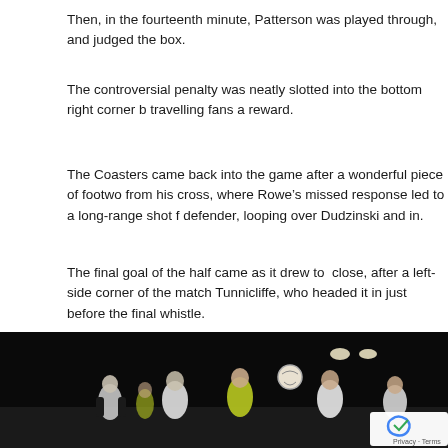Then, in the fourteenth minute, Patterson was played through, and judged the box.
The controversial penalty was neatly slotted into the bottom right corner b travelling fans a reward.
The Coasters came back into the game after a wonderful piece of footwo from his cross, where Rowe’s missed response led to a long-range shot f defender, looping over Dudzinski and in.
The final goal of the half came as it drew to  close, after a left-side corner of the match Tunnicliffe, who headed it in just before the final whistle.
[Figure (photo): Night football match photo showing players in white and yellow/green kits competing for a ball in the air, with floodlights visible in background]